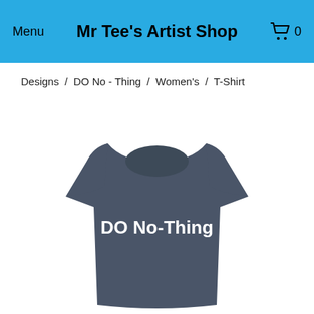Menu   Mr Tee's Artist Shop   🛒 0
Designs / DO No - Thing / Women's / T-Shirt
[Figure (photo): Dark gray women's t-shirt with bold white text reading 'DO No-Thing' printed on the chest]